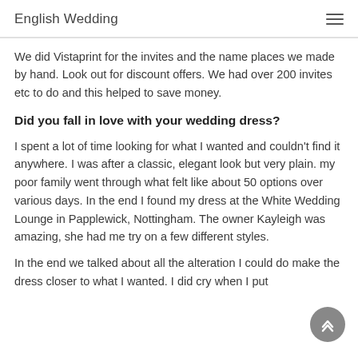English Wedding
We did Vistaprint for the invites and the name places we made by hand. Look out for discount offers. We had over 200 invites etc to do and this helped to save money.
Did you fall in love with your wedding dress?
I spent a lot of time looking for what I wanted and couldn't find it anywhere. I was after a classic, elegant look but very plain. my poor family went through what felt like about 50 options over various days. In the end I found my dress at the White Wedding Lounge in Papplewick, Nottingham. The owner Kayleigh was amazing, she had me try on a few different styles.
In the end we talked about all the alteration I could do make the dress closer to what I wanted. I did cry when I put